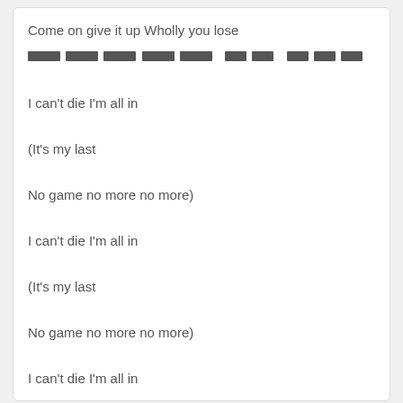Come on give it up Wholly you lose
[redacted line]
I can't die I'm all in
(It's my last
No game no more no more)
I can't die I'm all in
(It's my last
No game no more no more)
I can't die I'm all in
[redacted promotional text two lines]
support email: support@gasa.me
© 2022 gasa.me • Privacy Policy • DMCA • [Korean]